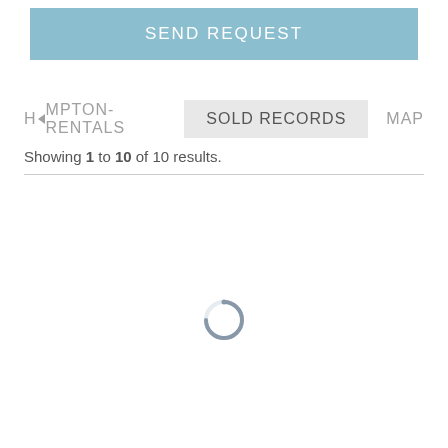SEND REQUEST
HAMPTON-RENTALS    SOLD RECORDS    MAP
Showing 1 to 10 of 10 results.
[Figure (other): Loading spinner - circular loading indicator with grey gradient ring]